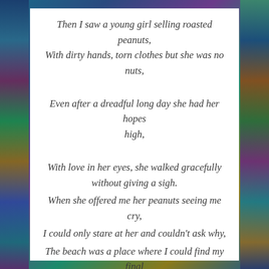Then I saw a young girl selling roasted peanuts,
With dirty hands, torn clothes but she was no nuts,
Even after a dreadful long day she had her hopes high,
With love in her eyes, she walked gracefully without giving a sigh.
When she offered me her peanuts seeing me cry,
I could only stare at her and couldn't ask why,
The beach was a place where I could find my final peace,
Instead I found God in her face and I walked back in grace in one piece.
-JMJ